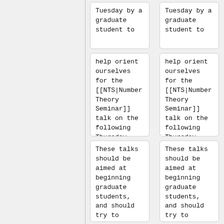Tuesday by a graduate student to
Tuesday by a graduate student to
help orient ourselves for the [[NTS|Number Theory Seminar]] talk on the following Thursday.
help orient ourselves for the [[NTS|Number Theory Seminar]] talk on the following Thursday.
These talks should be aimed at beginning graduate students, and should try to
These talks should be aimed at beginning graduate students, and should try to